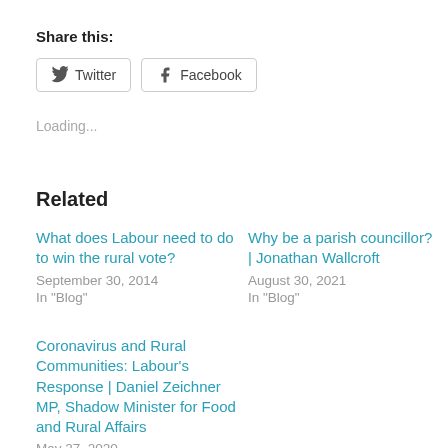Share this:
Twitter  Facebook
Loading...
Related
What does Labour need to do to win the rural vote?
September 30, 2014
In "Blog"
Why be a parish councillor? | Jonathan Wallcroft
August 30, 2021
In "Blog"
Coronavirus and Rural Communities: Labour's Response | Daniel Zeichner MP, Shadow Minister for Food and Rural Affairs
May 27, 2020